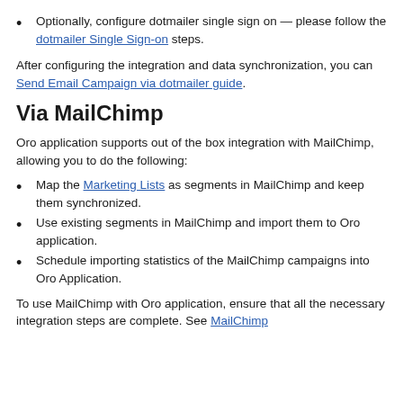Optionally, configure dotmailer single sign on — please follow the dotmailer Single Sign-on steps.
After configuring the integration and data synchronization, you can Send Email Campaign via dotmailer guide.
Via MailChimp
Oro application supports out of the box integration with MailChimp, allowing you to do the following:
Map the Marketing Lists as segments in MailChimp and keep them synchronized.
Use existing segments in MailChimp and import them to Oro application.
Schedule importing statistics of the MailChimp campaigns into Oro Application.
To use MailChimp with Oro application, ensure that all the necessary integration steps are complete. See MailChimp